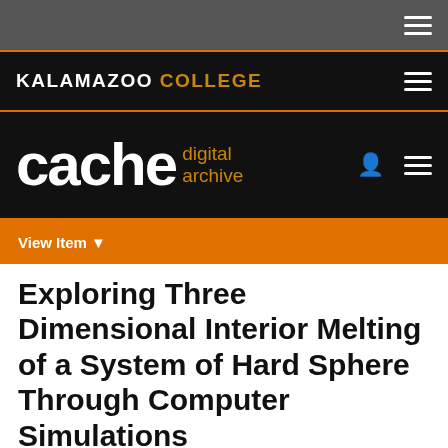[Figure (screenshot): Dark gray top navigation bar with hamburger menu icon on the right]
[Figure (logo): Kalamazoo College logo in white and gold on black background with hamburger menu]
[Figure (logo): Cache digital archive logo in white and gold on black background with user icon and hamburger menu]
View Item
Exploring Three Dimensional Interior Melting of a System of Hard Sphere Through Computer Simulations
View/Open
Searchable PDF /